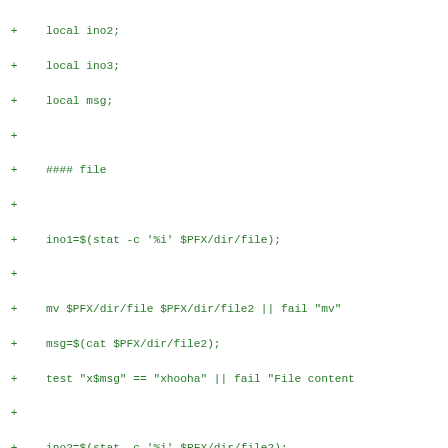Diff/code block showing shell script additions with local variables and mv/stat/test commands for file and directory inode comparison tests